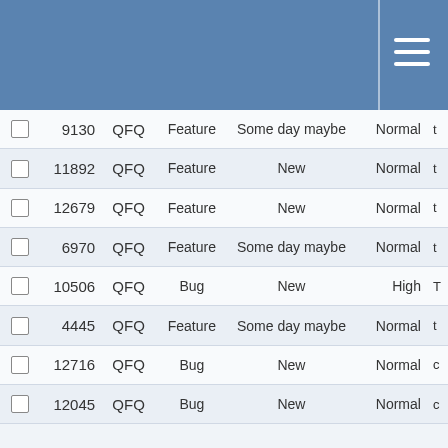QFQ Issue Tracker
|  | # | Project | Type | Status | Priority |  |
| --- | --- | --- | --- | --- | --- | --- |
|  | 9130 | QFQ | Feature | Some day maybe | Normal | t... |
|  | 11892 | QFQ | Feature | New | Normal | t... |
|  | 12679 | QFQ | Feature | New | Normal | t... |
|  | 6970 | QFQ | Feature | Some day maybe | Normal | t... |
|  | 10506 | QFQ | Bug | New | High | T... |
|  | 4445 | QFQ | Feature | Some day maybe | Normal | t... |
|  | 12716 | QFQ | Bug | New | Normal | c... |
|  | 12045 | QFQ | Bug | New | Normal | c... |